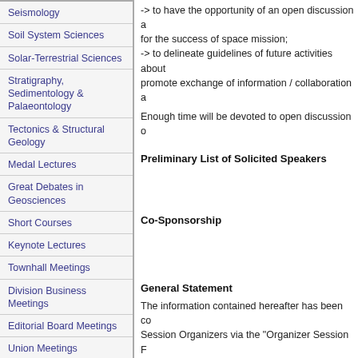Seismology
Soil System Sciences
Solar-Terrestrial Sciences
Stratigraphy, Sedimentology & Palaeontology
Tectonics & Structural Geology
Medal Lectures
Great Debates in Geosciences
Short Courses
Keynote Lectures
Townhall Meetings
Division Business Meetings
Editorial Board Meetings
Union Meetings
Splinter Meetings
-> to have the opportunity of an open discussion a for the success of space mission;
-> to delineate guidelines of future activities about promote exchange of information / collaboration a
Enough time will be devoted to open discussion o
Preliminary List of Solicited Speakers
Co-Sponsorship
General Statement
The information contained hereafter has been co Session Organizers via the "Organizer Session F Organizers have therefore the sole responsibility and accurate at the date of publication, and the co accept any legal responsibility for any errors or o and he makes no warranty, expressed or implied